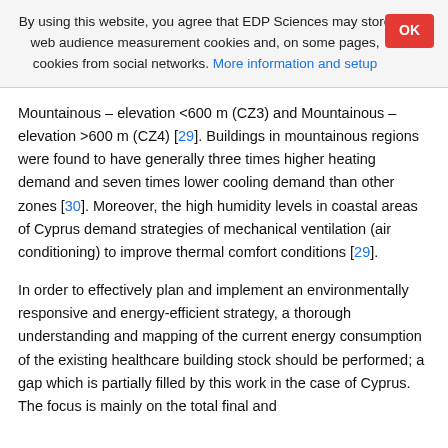By using this website, you agree that EDP Sciences may store web audience measurement cookies and, on some pages, cookies from social networks. More information and setup
Mountainous – elevation <600 m (CZ3) and Mountainous – elevation >600 m (CZ4) [29]. Buildings in mountainous regions were found to have generally three times higher heating demand and seven times lower cooling demand than other zones [30]. Moreover, the high humidity levels in coastal areas of Cyprus demand strategies of mechanical ventilation (air conditioning) to improve thermal comfort conditions [29].
In order to effectively plan and implement an environmentally responsive and energy-efficient strategy, a thorough understanding and mapping of the current energy consumption of the existing healthcare building stock should be performed; a gap which is partially filled by this work in the case of Cyprus. The focus is mainly on the total final and